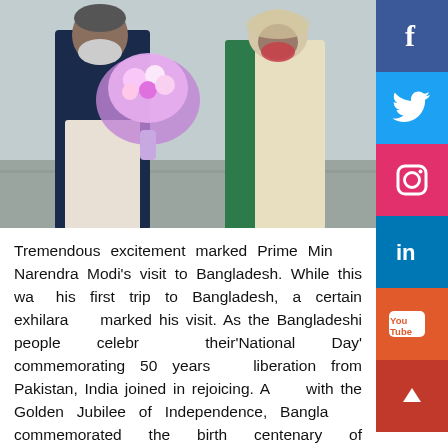[Figure (photo): Two people wearing face masks, one holding a large bouquet of flowers. Left person appears to be a man in dark vest and white kurta, right person is a woman in a green and cream saree. They are standing on what appears to be a tarmac.]
Tremendous excitement marked Prime Minister Narendra Modi’s visit to Bangladesh. While this was his first trip to Bangladesh, a certain exhilaration marked his visit. As the Bangladeshi people celebrated their‘National Day’ commemorating 50 years of liberation from Pakistan, India joined in rejoicing. Along with the Golden Jubilee of Independence, Bangladesh commemorated the birth centenary of ‘Bangabandhu’ Sheikh Mujibur Rahman. India and Bangladesh also hailed 50 years of formal diplomatic ties, with plans to